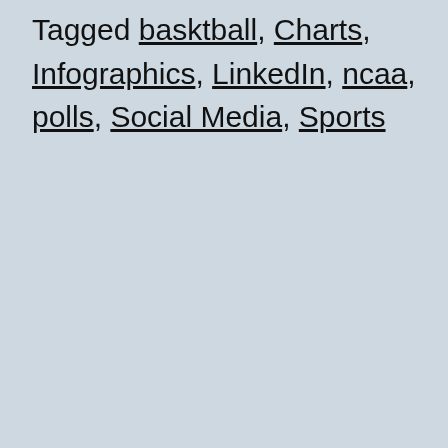Tagged basktball, Charts, Infographics, LinkedIn, ncaa, polls, Social Media, Sports